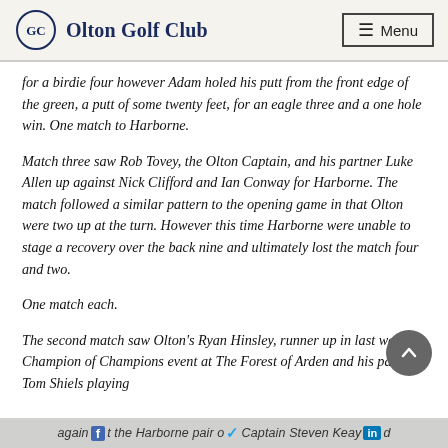Olton Golf Club | Menu
for a birdie four however Adam holed his putt from the front edge of the green, a putt of some twenty feet, for an eagle three and a one hole win. One match to Harborne.
Match three saw Rob Tovey, the Olton Captain, and his partner Luke Allen up against Nick Clifford and Ian Conway for Harborne. The match followed a similar pattern to the opening game in that Olton were two up at the turn. However this time Harborne were unable to stage a recovery over the back nine and ultimately lost the match four and two.
One match each.
The second match saw Olton's Ryan Hinsley, runner up in last week's Champion of Champions event at The Forest of Arden and his partner Tom Shiels playing
against the Harborne pair of Captain Steven Keay and ...